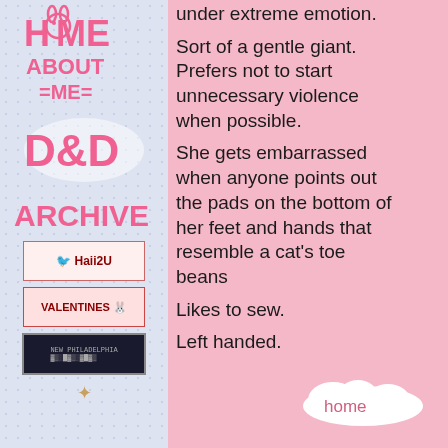[Figure (illustration): Left navigation panel with pink hand-drawn text labels: HOME, ABOUT ME, D&D, ARCHIVE, and decorative badges]
under extreme emotion.
Sort of a gentle giant. Prefers not to start unnecessary violence when possible.
She gets embarrassed when anyone points out the pads on the bottom of her feet and hands that resemble a cat's toe beans
Likes to sew.
Left handed.
[Figure (illustration): Cloud-shaped home button at bottom right]